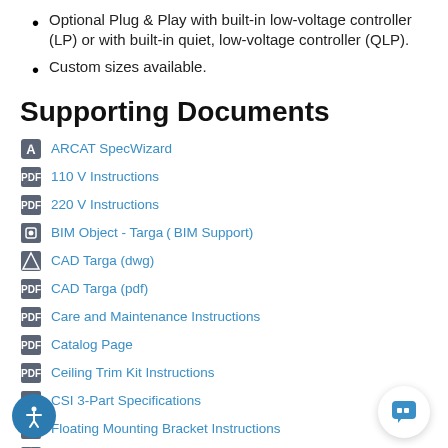Optional Plug & Play with built-in low-voltage controller (LP) or with built-in quiet, low-voltage controller (QLP).
Custom sizes available.
Supporting Documents
ARCAT SpecWizard
110 V Instructions
220 V Instructions
BIM Object - Targa ( BIM Support )
CAD Targa (dwg)
CAD Targa (pdf)
Care and Maintenance Instructions
Catalog Page
Ceiling Trim Kit Instructions
CSI 3-Part Specifications
Floating Mounting Bracket Instructions
Floating Mounting Brackets CAD (dwg)
Low Voltage Controls Wiring Instructions
Submittal
Warranty